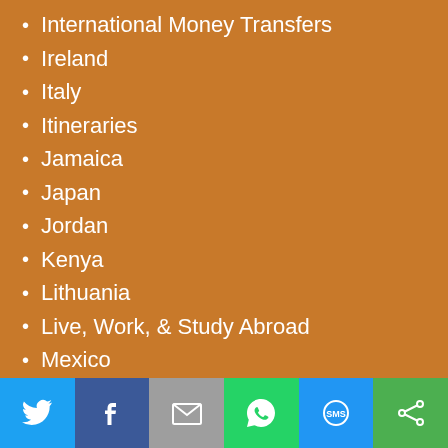International Money Transfers
Ireland
Italy
Itineraries
Jamaica
Japan
Jordan
Kenya
Lithuania
Live, Work, & Study Abroad
Mexico
Moldova
Monaco
Mongolia
Montenegro
Morocco